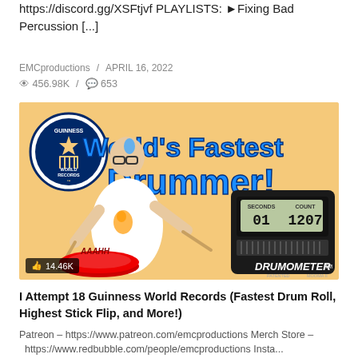https://discord.gg/XSFtjvf PLAYLISTS: ►Fixing Bad Percussion [...]
EMCproductions / APRIL 16, 2022
456.98K / 653
[Figure (screenshot): YouTube video thumbnail showing a man drumming with 'World's Fastest Drummer!' text, Guinness World Records logo, and a DRUMOMETER device displaying SECONDS: 01 COUNT: 1207. Like count badge shows 14.46K.]
I Attempt 18 Guinness World Records (Fastest Drum Roll, Highest Stick Flip, and More!)
Patreon – https://www.patreon.com/emcproductions Merch Store – https://www.redbubble.com/people/emcproductions Insta...